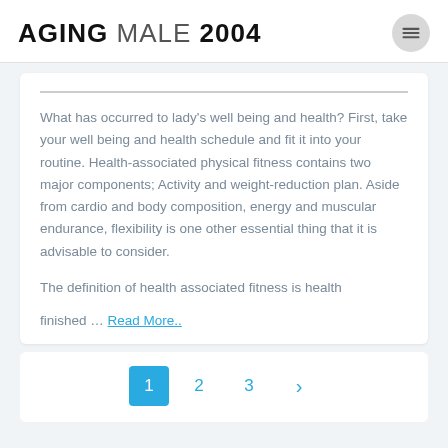AGING MALE 2004
What has occurred to lady's well being and health? First, take your well being and health schedule and fit it into your routine. Health-associated physical fitness contains two major components; Activity and weight-reduction plan. Aside from cardio and body composition, energy and muscular endurance, flexibility is one other essential thing that it is advisable to consider.

The definition of health associated fitness is health

finished ... Read More..
Pagination: 1 2 3 >